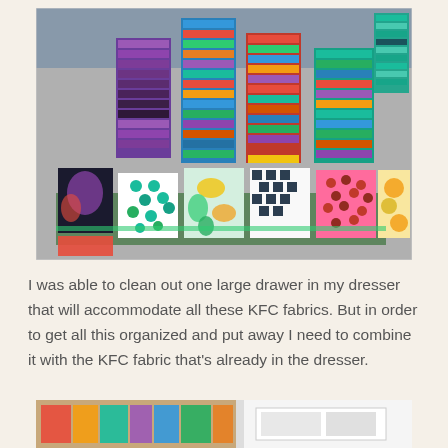[Figure (photo): Large collection of colorful folded fabric fat quarters stacked in piles on a gray table with a green cutting mat. Many different patterns, colors including purples, pinks, greens, blues, reds, and multicolored prints.]
I was able to clean out one large drawer in my dresser that will accommodate all these KFC fabrics. But in order to get all this organized and put away I need to combine it with the KFC fabric that's already in the dresser.
[Figure (photo): Partial view of fabric storage — colorful fabrics in a drawer or bin on the left, and a white dresser drawer on the right.]